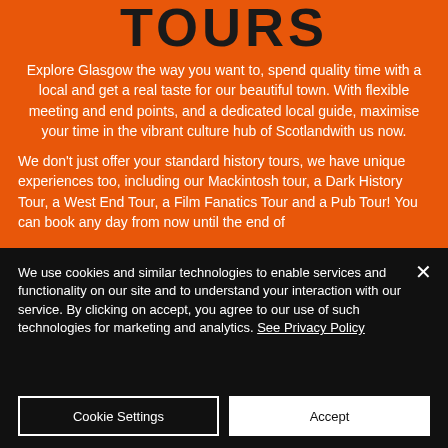TOURS
Explore Glasgow the way you want to, spend quality time with a local and get a real taste for our beautiful town. With flexible meeting and end points, and a dedicated local guide, maximise your time in the vibrant culture hub of Scotlandwith us now.
We don't just offer your standard history tours, we have unique experiences too, including our Mackintosh tour, a Dark History Tour, a West End Tour, a Film Fanatics Tour and a Pub Tour! You can book any day from now until the end of
We use cookies and similar technologies to enable services and functionality on our site and to understand your interaction with our service. By clicking on accept, you agree to our use of such technologies for marketing and analytics. See Privacy Policy